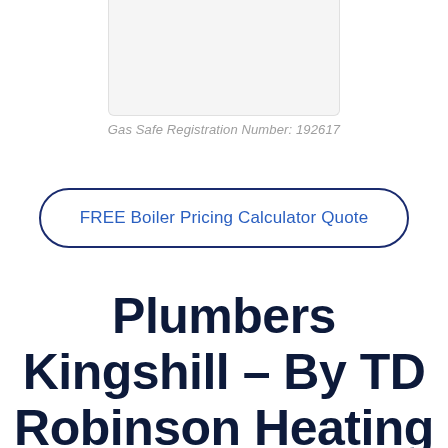[Figure (logo): Logo box / Gas Safe registration badge placeholder, light grey rectangle]
Gas Safe Registration Number: 192617
FREE Boiler Pricing Calculator Quote
Plumbers Kingshill – By TD Robinson Heating and